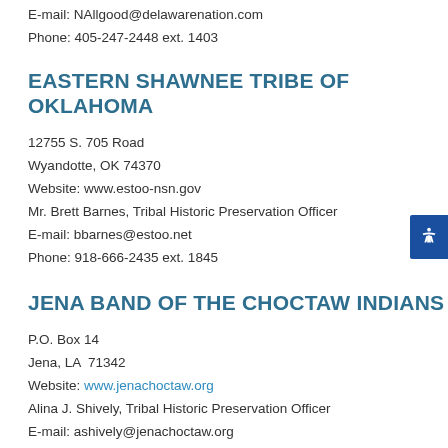E-mail: NAllgood@delawarenation.com
Phone: 405-247-2448 ext. 1403
EASTERN SHAWNEE TRIBE OF OKLAHOMA
12755 S. 705 Road
Wyandotte, OK 74370
Website: www.estoo-nsn.gov
Mr. Brett Barnes, Tribal Historic Preservation Officer
E-mail: bbarnes@estoo.net
Phone: 918-666-2435 ext. 1845
JENA BAND OF THE CHOCTAW INDIANS
P.O. Box 14
Jena, LA  71342
Website: www.jenachoctaw.org
Alina J. Shively, Tribal Historic Preservation Officer
E-mail: ashively@jenachoctaw.org
Phone: 318-992-1205